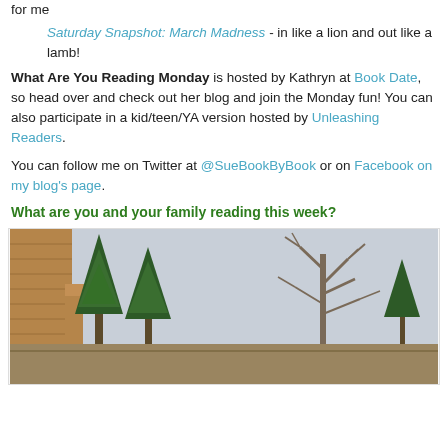for me
Saturday Snapshot: March Madness - in like a lion and out like a lamb!
What Are You Reading Monday is hosted by Kathryn at Book Date, so head over and check out her blog and join the Monday fun! You can also participate in a kid/teen/YA version hosted by Unleashing Readers.
You can follow me on Twitter at @SueBookByBook or on Facebook on my blog's page.
What are you and your family reading this week?
[Figure (photo): Outdoor photo showing a brick building corner with trees and bare branches against a light sky, low wall visible]